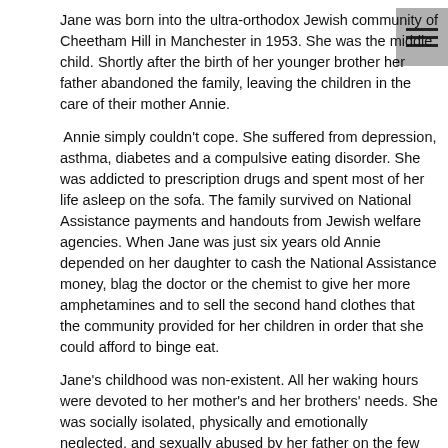Jane was born into the ultra-orthodox Jewish community of Cheetham Hill in Manchester in 1953. She was the middle child. Shortly after the birth of her younger brother her father abandoned the family, leaving the children in the care of their mother Annie.
Annie simply couldn't cope. She suffered from depression, asthma, diabetes and a compulsive eating disorder. She was addicted to prescription drugs and spent most of her life asleep on the sofa. The family survived on National Assistance payments and handouts from Jewish welfare agencies. When Jane was just six years old Annie depended on her daughter to cash the National Assistance money, blag the doctor or the chemist to give her more amphetamines and to sell the second hand clothes that the community provided for her children in order that she could afford to binge eat.
Jane's childhood was non-existent. All her waking hours were devoted to her mother's and her brothers' needs. She was socially isolated, physically and emotionally neglected, and sexually abused by her father on the few occasions when she came into contact with him.
Jane tells her story through the unmoderated voice of her childhood self. The voice is intense, innocent and powerful. The book begins when she is six and ends abruptly when she is fifteen and breaks away from the community that had failed her so miserably.
Jane has now written "Full Circle"; a sequel to "Breath in the Dark" which I reviewed here. She plans to publish the third volume of her life story next year.